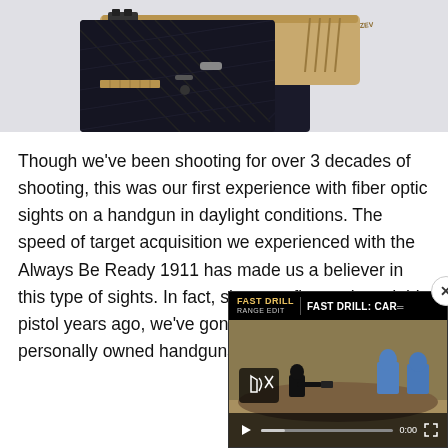[Figure (photo): Close-up photo of a two-toned pistol (tan/FDE slide with dark grip) on a light gray background, showing the rear sight, slide serrations, and textured grip panel.]
Though we've been shooting for over 3 decades of shooting, this was our first experience with fiber optic sights on a handgun in daylight conditions. The speed of target acquisition we experienced with the Always Be Ready 1911 has made us a believer in this type of sights. In fact, since we first reviewed this pistol years ago, we've gone on to equip several personally owned handguns with fiber optic sights.
[Figure (screenshot): Video player overlay popup showing a video titled 'FAST DRILL: CAR...' with a FAST DRILL branding logo, a dark video thumbnail showing a shooting range scene with blue target silhouettes, video controls (play button, progress bar showing 0:00, mute icon, fullscreen button), and a close (X) button.]